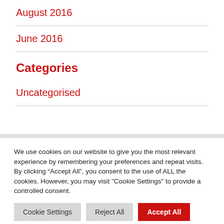August 2016
June 2016
Categories
Uncategorised
We use cookies on our website to give you the most relevant experience by remembering your preferences and repeat visits. By clicking “Accept All”, you consent to the use of ALL the cookies. However, you may visit "Cookie Settings" to provide a controlled consent.